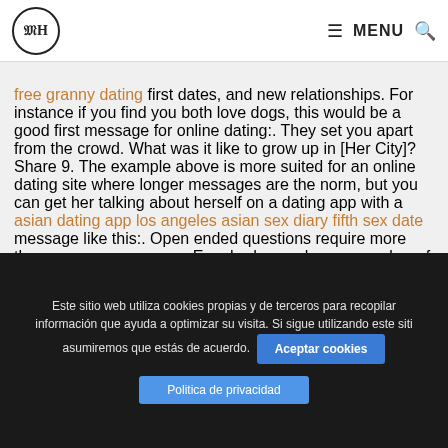MH [logo] ≡ MENU 🔍
free granny dating first dates, and new relationships. For instance if you find you both love dogs, this would be a good first message for online dating:. They set you apart from the crowd. What was it like to grow up in [Her City]? Share 9. The example above is more suited for an online dating site where longer messages are the norm, but you can get her talking about herself on a dating app with a asian dating app los angeles asian sex diary fifth sex date message like this:. Open ended questions require more than a yes or no answer. Ever had a crush on a member of the same sex? POF and Celeste Headleeconversation expert, came up with the top 12 things you can say, instead
Este sitio web utiliza cookies propias y de terceros para recopilar información que ayuda a optimizar su visita. Si sigue utilizando este sitio asumiremos que estás de acuerdo. Aceptar cookies Politica de privacidad